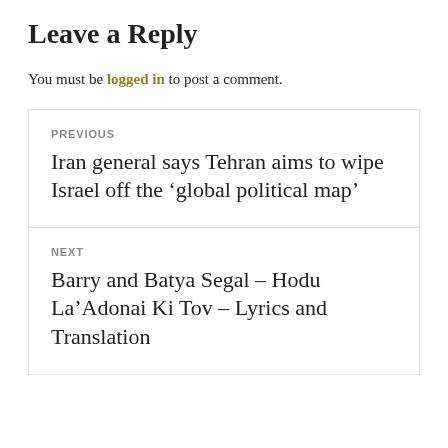Leave a Reply
You must be logged in to post a comment.
PREVIOUS
Iran general says Tehran aims to wipe Israel off the ‘global political map’
NEXT
Barry and Batya Segal – Hodu La’Adonai Ki Tov – Lyrics and Translation